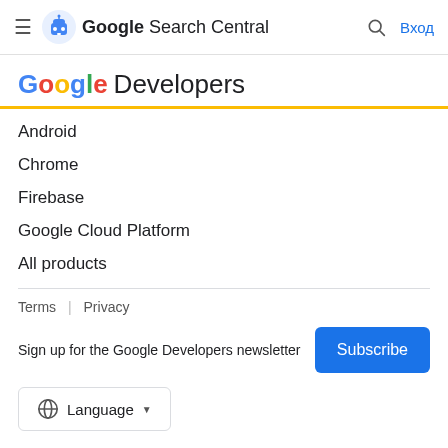Google Search Central Вход
Google Developers
Android
Chrome
Firebase
Google Cloud Platform
All products
Terms | Privacy
Sign up for the Google Developers newsletter
Language